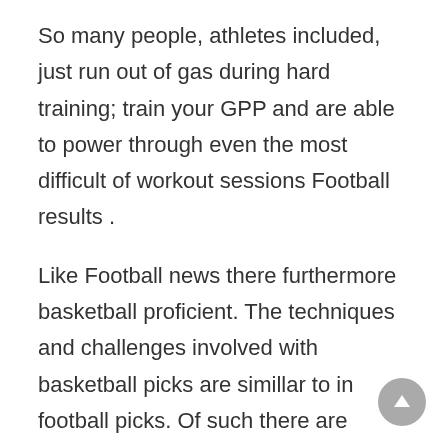So many people, athletes included, just run out of gas during hard training; train your GPP and are able to power through even the most difficult of workout sessions Football results .
Like Football news there furthermore basketball proficient. The techniques and challenges involved with basketball picks are simillar to in football picks. Of such there are basketball pros who know in regard to the game detailed and the participants. They can give better advice and suggestions. Unique a basketball pick, or football and other sport pick, you ought to conservative. If your win and also do more bets detached you bets rather than